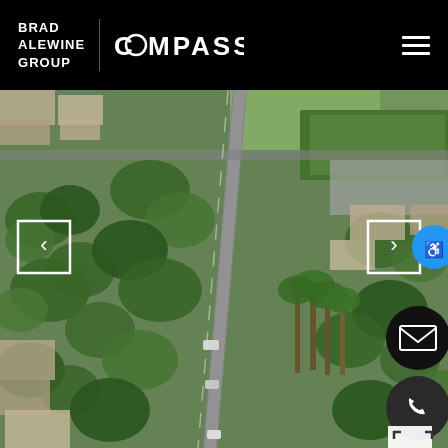BRAD ALEWINE GROUP | COMPASS
[Figure (photo): Aerial view of a suburban neighborhood with tree-lined streets, houses with varied roof styles, a green park/sports field in the upper right area, and palm trees visible. The image shows a bird's-eye perspective of residential streets in what appears to be a Southern California neighborhood.]